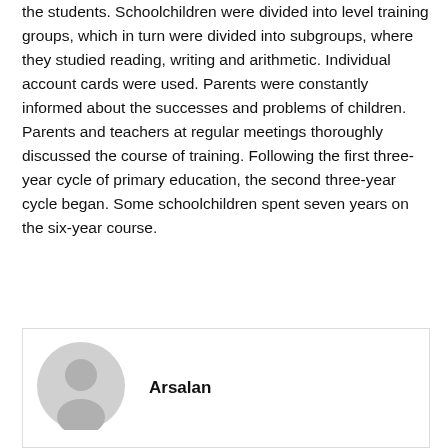the students. Schoolchildren were divided into level training groups, which in turn were divided into subgroups, where they studied reading, writing and arithmetic. Individual account cards were used. Parents were constantly informed about the successes and problems of children. Parents and teachers at regular meetings thoroughly discussed the course of training. Following the first three-year cycle of primary education, the second three-year cycle began. Some schoolchildren spent seven years on the six-year course.
[Figure (illustration): Generic grey avatar/profile icon showing a person silhouette]
Arsalan